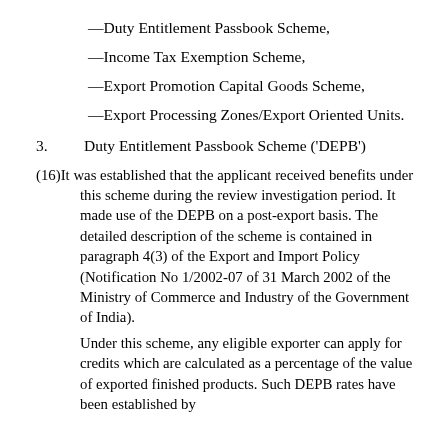—Duty Entitlement Passbook Scheme,
—Income Tax Exemption Scheme,
—Export Promotion Capital Goods Scheme,
—Export Processing Zones/Export Oriented Units.
3.   Duty Entitlement Passbook Scheme ('DEPB')
(16)It was established that the applicant received benefits under this scheme during the review investigation period. It made use of the DEPB on a post-export basis. The detailed description of the scheme is contained in paragraph 4(3) of the Export and Import Policy (Notification No 1/2002-07 of 31 March 2002 of the Ministry of Commerce and Industry of the Government of India).
Under this scheme, any eligible exporter can apply for credits which are calculated as a percentage of the value of exported finished products. Such DEPB rates have been established by...